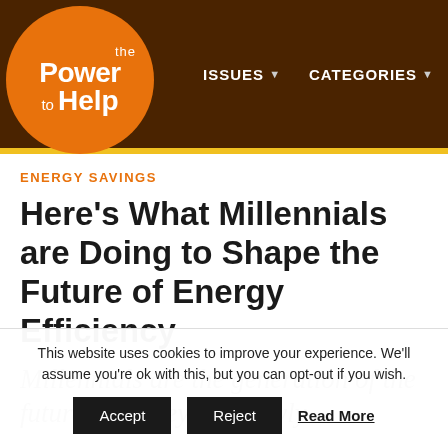the Power to Help — ISSUES ▾ CATEGORIES ▾
ENERGY SAVINGS
Here's What Millennials are Doing to Shape the Future of Energy Efficiency
Millennials are the generation of the future, and they are slowly
This website uses cookies to improve your experience. We'll assume you're ok with this, but you can opt-out if you wish. Accept Reject Read More